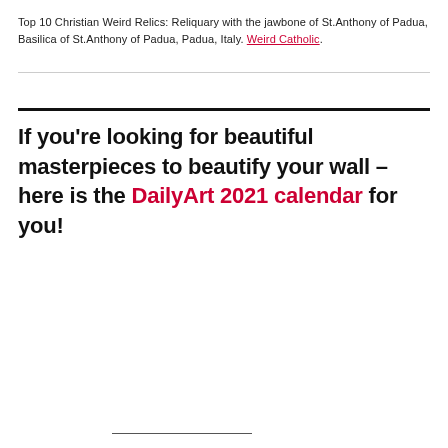Top 10 Christian Weird Relics: Reliquary with the jawbone of St.Anthony of Padua, Basilica of St.Anthony of Padua, Padua, Italy. Weird Catholic.
If you're looking for beautiful masterpieces to beautify your wall – here is the DailyArt 2021 calendar for you!